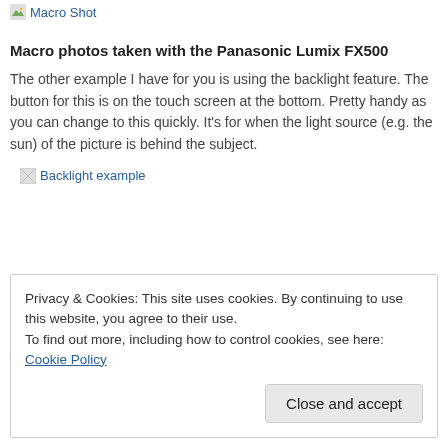[Figure (other): Small green icon followed by link text 'Macro Shot']
Macro photos taken with the Panasonic Lumix FX500
The other example I have for you is using the backlight feature. The button for this is on the touch screen at the bottom. Pretty handy as you can change to this quickly. It's for when the light source (e.g. the sun) of the picture is behind the subject.
[Figure (other): Broken image placeholder with alt text 'Backlight example']
Privacy & Cookies: This site uses cookies. By continuing to use this website, you agree to their use.
To find out more, including how to control cookies, see here: Cookie Policy
Close and accept